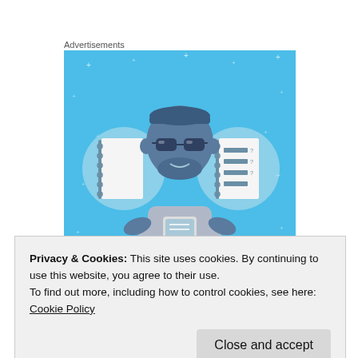Advertisements
[Figure (illustration): Advertisement illustration on a light blue background with sparkle stars. Shows a cartoon man with glasses and beard holding a smartphone, flanked by two circular icons: a spiral notebook on the left and a checklist/notepad on the right. Partial bold italic white text at the bottom of the ad reads 'you’ll ever need'.]
Privacy & Cookies: This site uses cookies. By continuing to use this website, you agree to their use.
To find out more, including how to control cookies, see here:
Cookie Policy
Close and accept